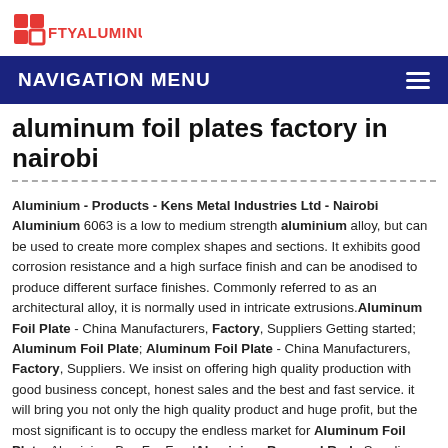FTYALUMINUM
NAVIGATION MENU
aluminum foil plates factory in nairobi
Aluminium - Products - Kens Metal Industries Ltd - Nairobi Aluminium 6063 is a low to medium strength aluminium alloy, but can be used to create more complex shapes and sections. It exhibits good corrosion resistance and a high surface finish and can be anodised to produce different surface finishes. Commonly referred to as an architectural alloy, it is normally used in intricate extrusions. Aluminum Foil Plate - China Manufacturers, Factory, Suppliers Getting started; Aluminum Foil Plate; Aluminum Foil Plate - China Manufacturers, Factory, Suppliers. We insist on offering high quality production with good business concept, honest sales and the best and fast service. it will bring you not only the high quality product and huge profit, but the most significant is to occupy the endless market for Aluminum Foil Plate, Aluminium Box For Food Aluminium Bars and Rods Suppliers, Manufacturers